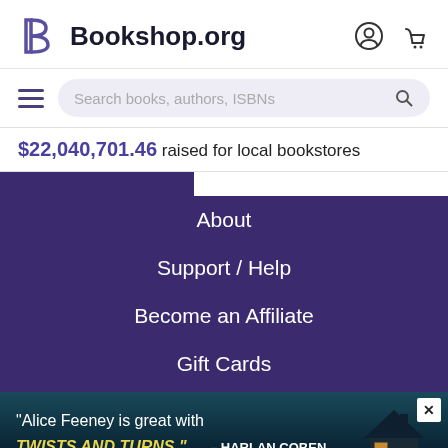Bookshop.org
Search books, authors, ISBNs
$22,040,701.46 raised for local bookstores
About
Support / Help
Become an Affiliate
Gift Cards
[Figure (screenshot): Advertisement banner with dark teal ocean background and house silhouette. Quote text: "Alice Feeney is great with TWISTS AND TURNS." — HARLAN COBEN]